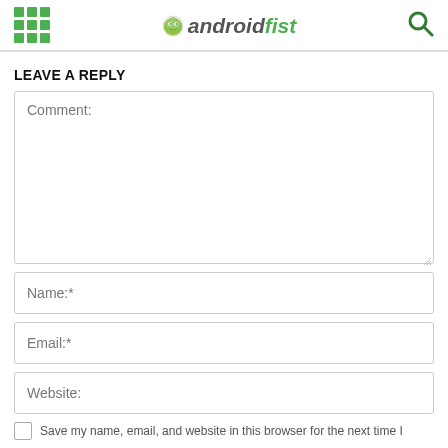androidfist
LEAVE A REPLY
Comment:
Name:*
Email:*
Website:
Save my name, email, and website in this browser for the next time I